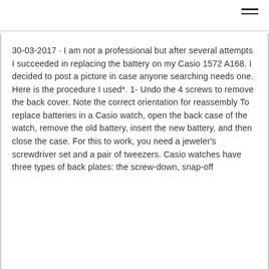30-03-2017 · I am not a professional but after several attempts I succeeded in replacing the battery on my Casio 1572 A168. I decided to post a picture in case anyone searching needs one. Here is the procedure I used*. 1- Undo the 4 screws to remove the back cover. Note the correct orientation for reassembly To replace batteries in a Casio watch, open the back case of the watch, remove the old battery, insert the new battery, and then close the case. For this to work, you need a jeweler's screwdriver set and a pair of tweezers. Casio watches have three types of back plates: the screw-down, snap-off